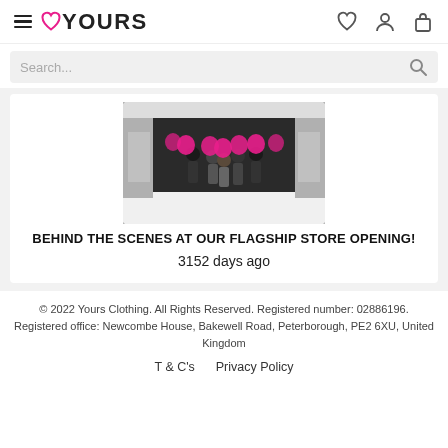≡ ♡YOURS [heart icon] [person icon] [bag icon]
Search...
[Figure (photo): Group of store staff holding pink heart-shaped balloons at a store opening event, standing in a corridor with display racks visible.]
BEHIND THE SCENES AT OUR FLAGSHIP STORE OPENING!
3152 days ago
© 2022 Yours Clothing. All Rights Reserved. Registered number: 02886196. Registered office: Newcombe House, Bakewell Road, Peterborough, PE2 6XU, United Kingdom
T & C's   Privacy Policy